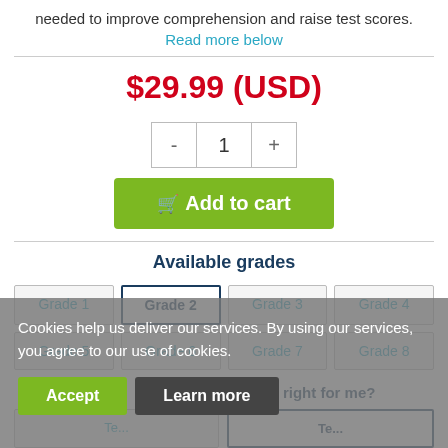needed to improve comprehension and raise test scores. Read more below
$29.99 (USD)
- 1 +
Add to cart
Available grades
Cookies help us deliver our services. By using our services, you agree to our use of cookies.
Accept   Learn more
Grade 1
Grade 2
Grade 3
Grade 4
Grade 5
Grade 6
Grade 7
Grade 8
Available ... Which ... right for me?